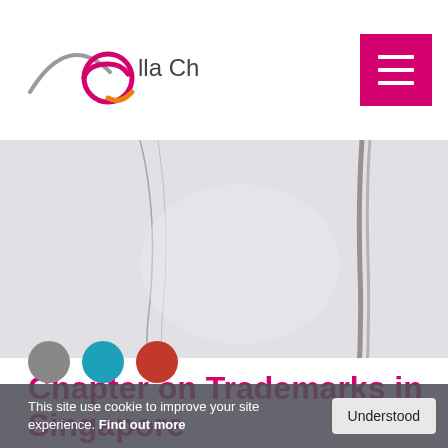[Figure (logo): Ella Cheong law firm logo with stylized 'e' in magenta and gold, grey arc, and text 'ella Cheong' in dark grey]
[Figure (photo): Close-up blurred photo of thin curved lines on a light grey background, possibly glass or wire]
Chapter on Trademarks in Singapore
This site use cookie to improve your site experience. Find out more
[Figure (illustration): Social media icons row partially visible at bottom: grey circle, teal/cyan circle, red circle]